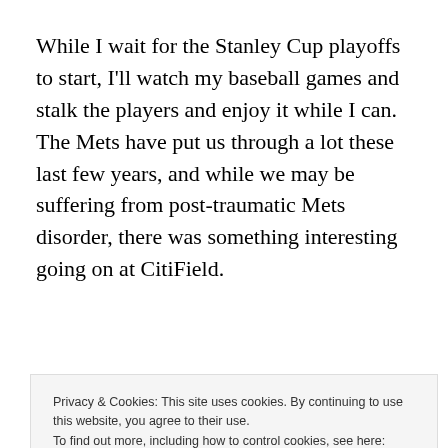While I wait for the Stanley Cup playoffs to start, I'll watch my baseball games and stalk the players and enjoy it while I can.  The Mets have put us through a lot these last few years, and while we may be suffering from post-traumatic Mets disorder, there was something interesting going on at CitiField.
It felt like we belonged there.  We belonged as fans, the
baseball etiquette by them.
Privacy & Cookies: This site uses cookies. By continuing to use this website, you agree to their use.
To find out more, including how to control cookies, see here: Cookie Policy